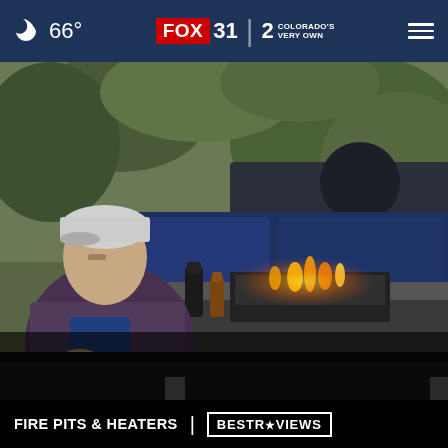66° | FOX 31 | 2 COLORADO'S VERY OWN
[Figure (photo): A man wearing a plaid flannel shirt and a baseball cap sits on a blue cushioned outdoor sofa next to a modern rectangular fire pit table with flames visible, surrounded by green foliage in the background. A black tumbler and amber bottle are on the fire pit table edge.]
FIRE PITS & HEATERS | BESTREVIEWS